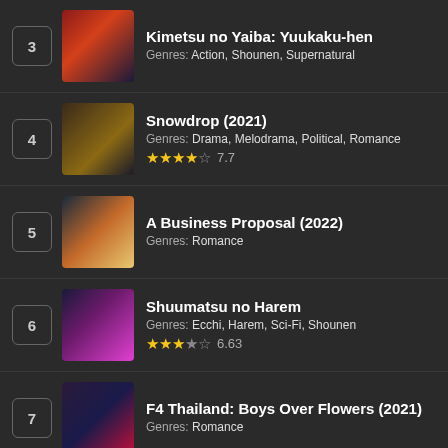3 | Kimetsu no Yaiba: Yuukaku-hen | Genres: Action, Shounen, Supernatural
4 | Snowdrop (2021) | Genres: Drama, Melodrama, Political, Romance | Rating: 7.7
5 | A Business Proposal (2022) | Genres: Romance
6 | Shuumatsu no Harem | Genres: Ecchi, Harem, Sci-Fi, Shounen | Rating: 6.63
7 | F4 Thailand: Boys Over Flowers (2021) | Genres: Romance